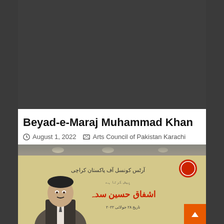[Figure (other): Dark gray video placeholder / thumbnail area at the top of the article]
Beyad-e-Maraj Muhammad Khan
August 1, 2022   Arts Council of Pakistan Karachi
[Figure (photo): Photo of a man in a suit standing in front of a yellow banner with Urdu text. The banner appears to relate to Arts Council of Pakistan Karachi. Text on banner includes Urdu script with red highlighted name 'Ishfaq Hussain Sada'. A red circular emblem/logo is visible in the top right of the banner. An orange back-to-top button is overlaid at the bottom right.]